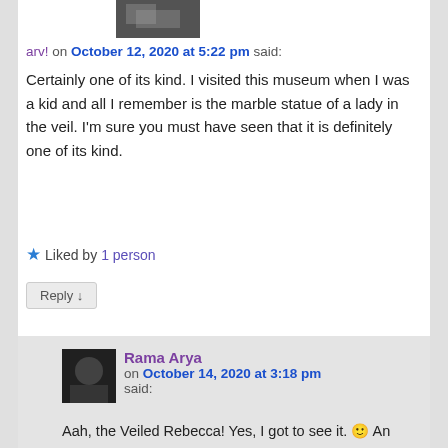[Figure (photo): Small avatar image of user arv! - grayscale/dark photo thumbnail]
arv! on October 12, 2020 at 5:22 pm said:
Certainly one of its kind. I visited this museum when I was a kid and all I remember is the marble statue of a lady in the veil. I'm sure you must have seen that it is definitely one of its kind.
★ Liked by 1 person
Reply ↓
[Figure (photo): Small avatar image of user Rama Arya - dark photo thumbnail]
Rama Arya on October 14, 2020 at 3:18 pm said:
Aah, the Veiled Rebecca! Yes, I got to see it. 🙂 An absolute masterpiece. I have written about it as well.
★ Liked by 1 person